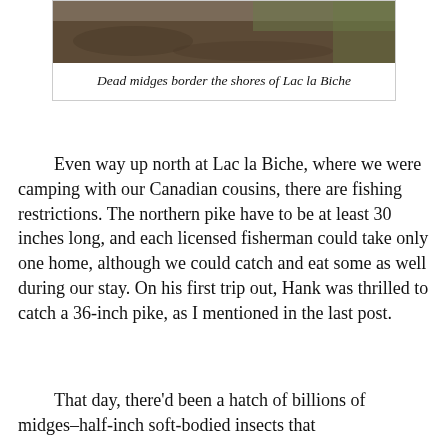[Figure (photo): Photograph of dead midges bordering the shores of Lac la Biche — dark earthy ground texture with some greenery visible at top right.]
Dead midges border the shores of Lac la Biche
Even way up north at Lac la Biche, where we were camping with our Canadian cousins, there are fishing restrictions. The northern pike have to be at least 30 inches long, and each licensed fisherman could take only one home, although we could catch and eat some as well during our stay. On his first trip out, Hank was thrilled to catch a 36-inch pike, as I mentioned in the last post.
That day, there'd been a hatch of billions of midges–half-inch soft-bodied insects that